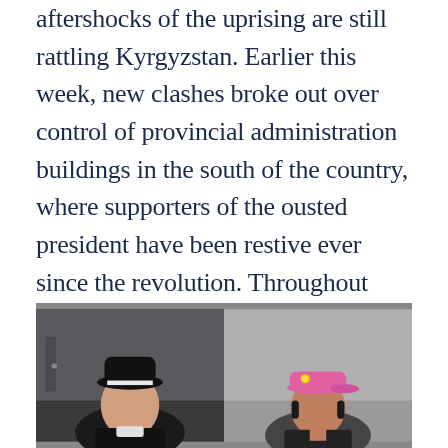aftershocks of the uprising are still rattling Kyrgyzstan. Earlier this week, new clashes broke out over control of provincial administration buildings in the south of the country, where supporters of the ousted president have been restive ever since the revolution. Throughout Kyrgyzstan, the post-revolutionary chaos has sparked redistribution of property, power, and jobs -- sometimes by violent means.
[Figure (photo): Two people side by side: one wearing a black hat on the left, one wearing a pink baseball cap on the right, photographed indoors.]